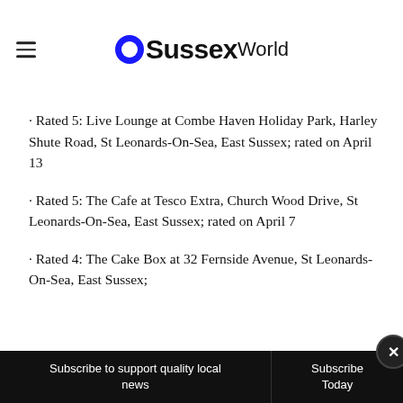OSSussexWorld
· Rated 5: Live Lounge at Combe Haven Holiday Park, Harley Shute Road, St Leonards-On-Sea, East Sussex; rated on April 13
· Rated 5: The Cafe at Tesco Extra, Church Wood Drive, St Leonards-On-Sea, East Sussex; rated on April 7
· Rated 4: The Cake Box at 32 Fernside Avenue, St Leonards-On-Sea, East Sussex;
Subscribe to support quality local news | Subscribe Today